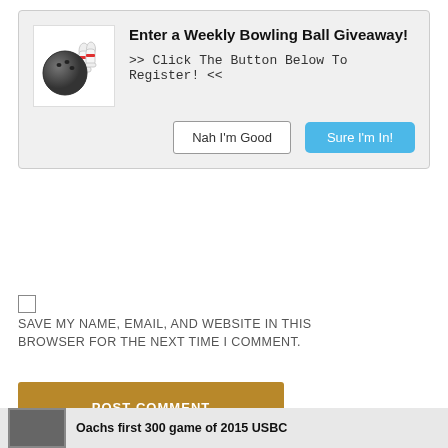[Figure (infographic): Bowling ball giveaway popup with bowling ball and pins icon, title 'Enter a Weekly Bowling Ball Giveaway!', subtitle '>> Click The Button Below To Register! <<', and two buttons: 'Nah I'm Good' and 'Sure I'm In!']
SAVE MY NAME, EMAIL, AND WEBSITE IN THIS BROWSER FOR THE NEXT TIME I COMMENT.
POST COMMENT
LATEST POSTS
ATTENTION REQUIRED
This website uses Cookies. By continuing to use our site, you consent to the use of cookies.
Accept
Privacy Center
Oachs first 300 game of 2015 USBC